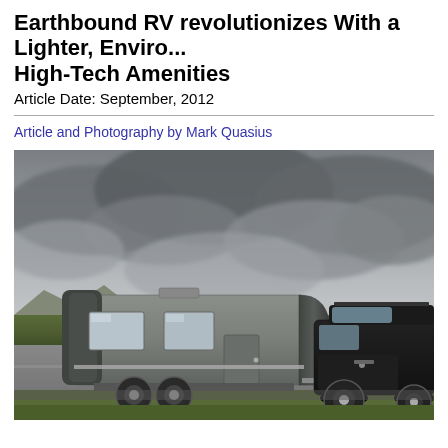Earthbound RV revolutionizes With a Lighter, Enviro... High-Tech Amenities
Article Date: September, 2012
Article and Photography by Mark Quasius
[Figure (photo): A modern travel trailer RV being towed by a dark SUV/truck on a highway, under a dramatic cloudy sky with green plains and mountains in the background. The RV has a sleek, aerodynamic design in gray and black.]